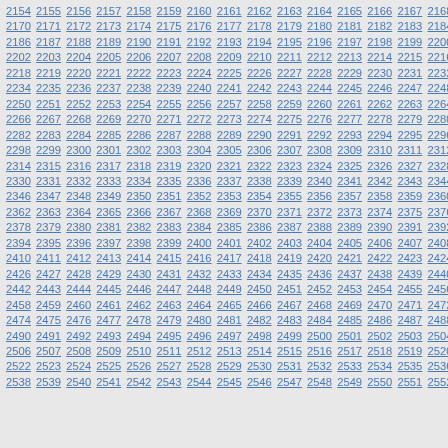2154 2155 2156 2157 2158 2159 2160 2161 2162 2163 2164 2165 2166 2167 2168 2169
2170 2171 2172 2173 2174 2175 2176 2177 2178 2179 2180 2181 2182 2183 2184 2185
2186 2187 2188 2189 2190 2191 2192 2193 2194 2195 2196 2197 2198 2199 2200 2201
2202 2203 2204 2205 2206 2207 2208 2209 2210 2211 2212 2213 2214 2215 2216 2217
2218 2219 2220 2221 2222 2223 2224 2225 2226 2227 2228 2229 2230 2231 2232 2233
2234 2235 2236 2237 2238 2239 2240 2241 2242 2243 2244 2245 2246 2247 2248 2249
2250 2251 2252 2253 2254 2255 2256 2257 2258 2259 2260 2261 2262 2263 2264 2265
2266 2267 2268 2269 2270 2271 2272 2273 2274 2275 2276 2277 2278 2279 2280 2281
2282 2283 2284 2285 2286 2287 2288 2289 2290 2291 2292 2293 2294 2295 2296 2297
2298 2299 2300 2301 2302 2303 2304 2305 2306 2307 2308 2309 2310 2311 2312 2313
2314 2315 2316 2317 2318 2319 2320 2321 2322 2323 2324 2325 2326 2327 2328 2329
2330 2331 2332 2333 2334 2335 2336 2337 2338 2339 2340 2341 2342 2343 2344 2345
2346 2347 2348 2349 2350 2351 2352 2353 2354 2355 2356 2357 2358 2359 2360 2361
2362 2363 2364 2365 2366 2367 2368 2369 2370 2371 2372 2373 2374 2375 2376 2377
2378 2379 2380 2381 2382 2383 2384 2385 2386 2387 2388 2389 2390 2391 2392 2393
2394 2395 2396 2397 2398 2399 2400 2401 2402 2403 2404 2405 2406 2407 2408 2409
2410 2411 2412 2413 2414 2415 2416 2417 2418 2419 2420 2421 2422 2423 2424 2425
2426 2427 2428 2429 2430 2431 2432 2433 2434 2435 2436 2437 2438 2439 2440 2441
2442 2443 2444 2445 2446 2447 2448 2449 2450 2451 2452 2453 2454 2455 2456 2457
2458 2459 2460 2461 2462 2463 2464 2465 2466 2467 2468 2469 2470 2471 2472 2473
2474 2475 2476 2477 2478 2479 2480 2481 2482 2483 2484 2485 2486 2487 2488 2489
2490 2491 2492 2493 2494 2495 2496 2497 2498 2499 2500 2501 2502 2503 2504 2505
2506 2507 2508 2509 2510 2511 2512 2513 2514 2515 2516 2517 2518 2519 2520 2521
2522 2523 2524 2525 2526 2527 2528 2529 2530 2531 2532 2533 2534 2535 2536 2537
2538 2539 2540 2541 2542 2543 2544 2545 2546 2547 2548 2549 2550 2551 2552 2553